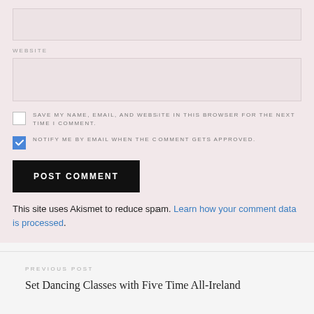WEBSITE
SAVE MY NAME, EMAIL, AND WEBSITE IN THIS BROWSER FOR THE NEXT TIME I COMMENT.
NOTIFY ME BY EMAIL WHEN THE COMMENT GETS APPROVED.
POST COMMENT
This site uses Akismet to reduce spam. Learn how your comment data is processed.
PREVIOUS POST
Set Dancing Classes with Five Time All-Ireland